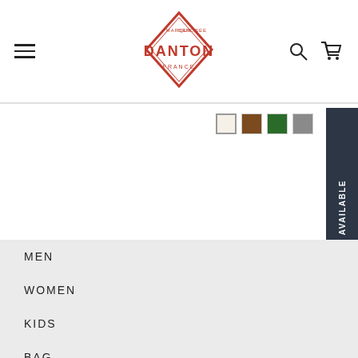[Figure (logo): Danton France logo - red diamond shape with DANTON text inside]
[Figure (infographic): Four color swatches: white/cream, brown, green, gray]
[Figure (infographic): Dark navy button with vertical text NOTIFY WHEN AVAILABLE]
MEN
WOMEN
KIDS
BAG
HAT
GOODS
STORE EXCLUSIVE